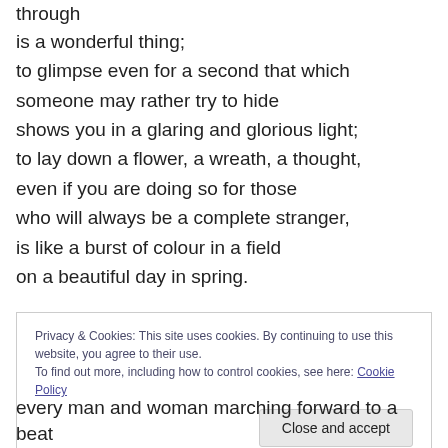through
is a wonderful thing;
to glimpse even for a second that which
someone may rather try to hide
shows you in a glaring and glorious light;
to lay down a flower, a wreath, a thought,
even if you are doing so for those
who will always be a complete stranger,
is like a burst of colour in a field
on a beautiful day in spring.
Privacy & Cookies: This site uses cookies. By continuing to use this website, you agree to their use.
To find out more, including how to control cookies, see here: Cookie Policy
every man and woman marching forward to a beat